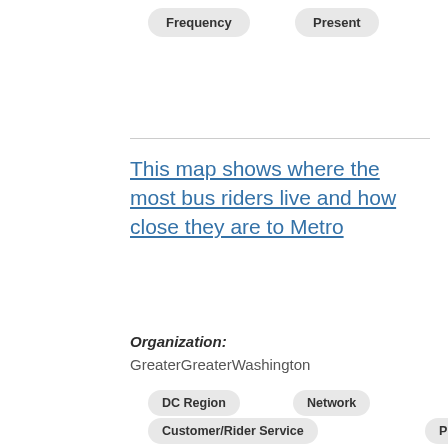Frequency
Present
This map shows where the most bus riders live and how close they are to Metro
Organization: GreaterGreaterWashington
DC Region
Network
Customer/Rider Service
Present
Four ways to build a better bus